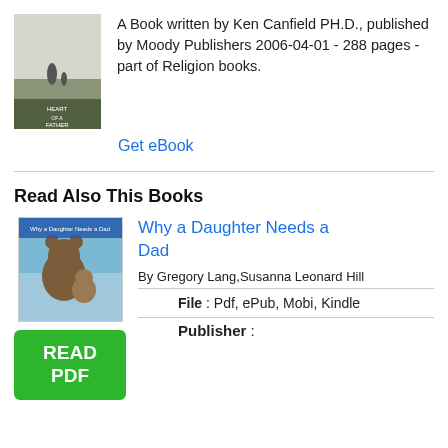[Figure (illustration): Book cover thumbnail for a book by Ken Canfield - shows a person with a child in a misty field, title includes 'Heart of a Father']
A Book written by Ken Canfield PH.D., published by Moody Publishers 2006-04-01 - 288 pages - part of Religion books.
Get eBook
Read Also This Books
[Figure (illustration): Book cover for 'Why a Daughter Needs a Dad' showing a bear and cub illustration]
Why a Daughter Needs a Dad
[Figure (other): Green READ PDF button]
By Gregory Lang,Susanna Leonard Hill
File : Pdf, ePub, Mobi, Kindle
Publisher :